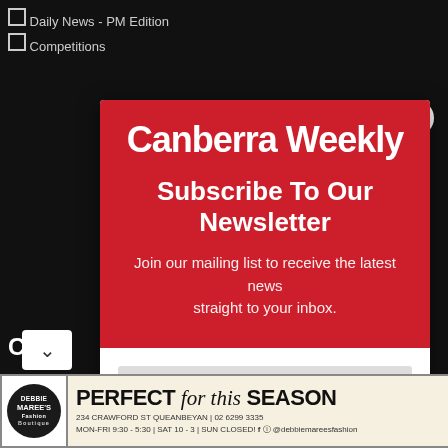Daily News - PM Edition
Competitions
[Figure (screenshot): Canberra Weekly newsletter subscription modal overlay on a dark background website. Red top section with 'Canberra Weekly' logo, 'Subscribe To Our Newsletter' heading, tagline text, email input field, and SUBSCRIBE! button. Close X button top right.]
[Figure (other): Debbie Maree's Fashion Boutique advertisement banner. Text: PERFECT for this SEASON. 234 Crawford St Queanbeyan | 02 6299 3335. MON-FRI 9:30 - 5:30 | SAT 10 - 3 | SUN CLOSED! Facebook Instagram @debbiemarееsfashion]